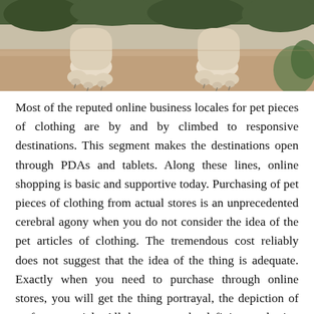[Figure (photo): Close-up photograph of dog paws resting on sandy/dirt ground, with some green foliage visible in the background.]
Most of the reputed online business locales for pet pieces of clothing are by and by climbed to responsive destinations. This segment makes the destinations open through PDAs and tablets. Along these lines, online shopping is basic and supportive today. Purchasing of pet pieces of clothing from actual stores is an unprecedented cerebral agony when you do not consider the idea of the pet articles of clothing. The tremendous cost reliably does not suggest that the idea of the thing is adequate. Exactly when you need to purchase through online stores, you will get the thing portrayal, the depiction of surface materials. All these assert the definite purchasing from online stores. While purchasing wrangler through online stores, you can scrutinize a wide combination of things. All the while, you have the decision to search for comparative things to the